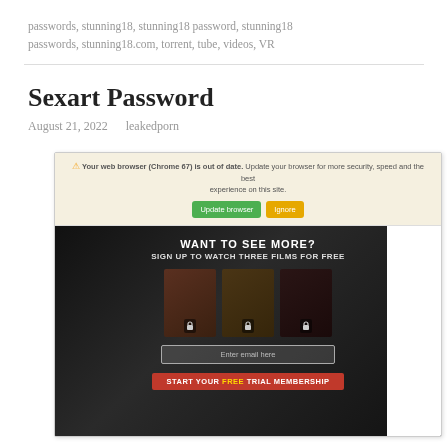passwords, stunning18, stunning18 password, stunning18 passwords, stunning18.com, torrent, tube, videos, VR
Sexart Password
August 21, 2022   leakedporn
[Figure (screenshot): Screenshot of a website showing a browser update warning bar at the top ('Your web browser (Chrome 67) is out of date. Update your browser for more security, speed and the best experience on this site.' with 'Update browser' and 'Ignore' buttons), and below it a dark-themed adult website page with text 'WANT TO SEE MORE? SIGN UP TO WATCH THREE FILMS FOR FREE', three film thumbnails with lock icons, an email input field labeled 'Enter email here', and a red button 'START YOUR FREE TRIAL MEMBERSHIP'.]